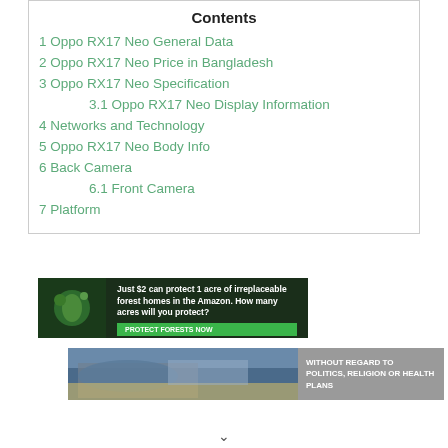Contents
1 Oppo RX17 Neo General Data
2 Oppo RX17 Neo Price in Bangladesh
3 Oppo RX17 Neo Specification
3.1 Oppo RX17 Neo Display Information
4 Networks and Technology
5 Oppo RX17 Neo Body Info
6 Back Camera
6.1 Front Camera
7 Platform
[Figure (photo): Advertisement banner: Just $2 can protect 1 acre of irreplaceable forest homes in the Amazon. How many acres will you protect? PROTECT FORESTS NOW]
[Figure (photo): Advertisement banner with airplane cargo loading image and text: WITHOUT REGARD TO POLITICS, RELIGION OR HEALTH PLANS]